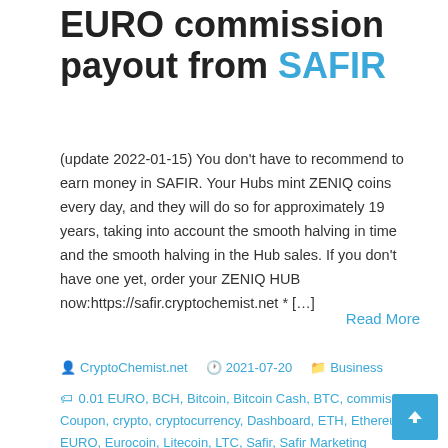EURO commission payout from SAFIR
(update 2022-01-15) You don't have to recommend to earn money in SAFIR. Your Hubs mint ZENIQ coins every day, and they will do so for approximately 19 years, taking into account the smooth halving in time and the smooth halving in the Hub sales. If you don't have one yet, order your ZENIQ HUB now:https://safir.cryptochemist.net * […]
Read More
CryptoChemist.net   2021-07-20   Business
0.01 EURO, BCH, Bitcoin, Bitcoin Cash, BTC, commission, Coupon, crypto, cryptocurrency, Dashboard, ETH, Ethereum, EURO, Eurocoin, Litecoin, LTC, Safir, Safir Marketing Program, Shop,